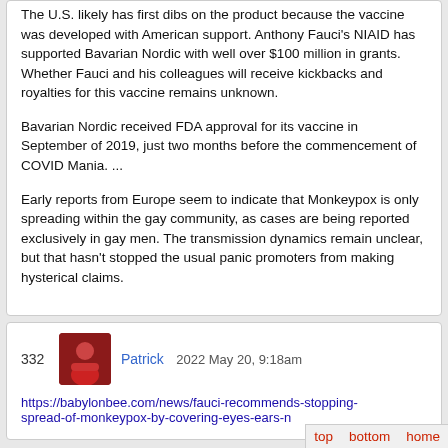The U.S. likely has first dibs on the product because the vaccine was developed with American support. Anthony Fauci's NIAID has supported Bavarian Nordic with well over $100 million in grants. Whether Fauci and his colleagues will receive kickbacks and royalties for this vaccine remains unknown.

Bavarian Nordic received FDA approval for its vaccine in September of 2019, just two months before the commencement of COVID Mania. ...

Early reports from Europe seem to indicate that Monkeypox is only spreading within the gay community, as cases are being reported exclusively in gay men. The transmission dynamics remain unclear, but that hasn't stopped the usual panic promoters from making hysterical claims.
332  Patrick  2022 May 20, 9:18am
https://babylonbee.com/news/fauci-recommends-stopping-spread-of-monkeypox-by-covering-eyes-ears-n...
top  bottom  home